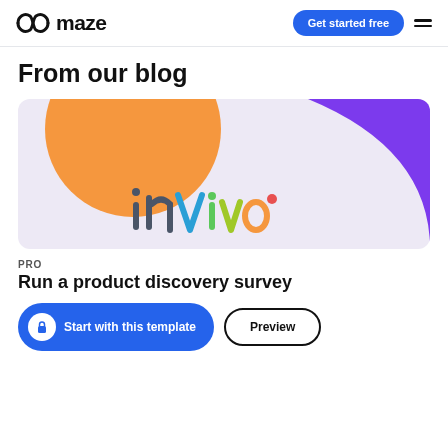maze  |  Get started free  [hamburger menu]
From our blog
[Figure (illustration): InVivo branded blog card image on a light lavender background with a large orange circle on the left and a large purple quarter-circle on the right. The word 'inVivo' is displayed in colorful letters (teal, green, orange, red) in the center-bottom.]
PRO
Run a product discovery survey
Start with this template  |  Preview